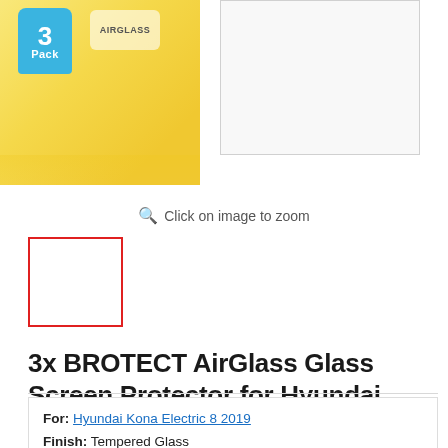[Figure (photo): Product image of 3-pack BROTECT AirGlass screen protector box with yellow packaging and blue 3-pack badge, plus a transparent screen protector sheet shown separately]
Click on image to zoom
[Figure (photo): Thumbnail image with red border outline, currently showing blank/white content]
3x BROTECT AirGlass Glass Screen Protector for Hyundai Kona Electric 8 2019
For: Hyundai Kona Electric 8 2019
Finish: Tempered Glass